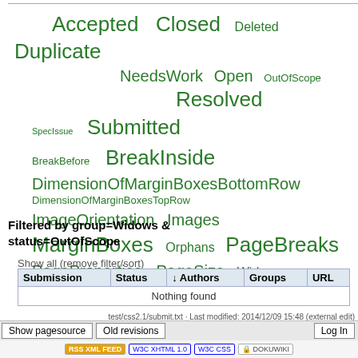[Figure (infographic): Tag cloud showing submission status and group filter tags in green: Accepted, Closed, Deleted, Duplicate, NeedsWork, Open, OutOfScope, Resolved, SpecIssue, Submitted, BreakBefore, BreakInside, DimensionOfMarginBoxesBottomRow, DimensionOfMarginBoxesTopRow, ImageOrientation, Images, MarginBoxes, Orphans, PageBreaks, PageProperties, PageSize, Widows — each sized proportionally to frequency.]
Filtered by group=Widows & status=OutOfScope
Show all (remove filter/sort)
| Submission | Status | ↓ Authors | Groups | URL |
| --- | --- | --- | --- | --- |
| Nothing found |  |  |  |  |
test/css2.1/submit.txt · Last modified: 2014/12/09 15:48 (external edit)
Show pagesource   Old revisions   Log In